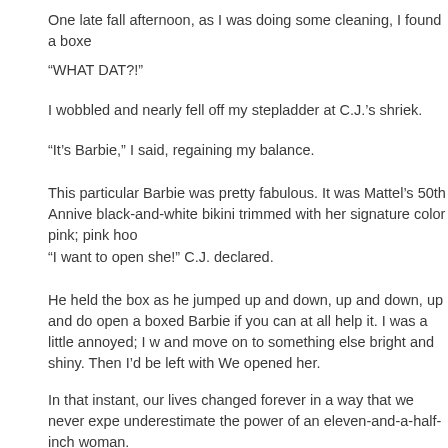One late fall afternoon, as I was doing some cleaning, I found a boxe...
“WHAT DAT?!”
I wobbled and nearly fell off my stepladder at C.J.’s shriek.
“It’s Barbie,” I said, regaining my balance.
This particular Barbie was pretty fabulous. It was Mattel’s 50th Annive... black-and-white bikini trimmed with her signature color pink; pink hoo...
“I want to open she!” C.J. declared.
He held the box as he jumped up and down, up and down, up and do... open a boxed Barbie if you can at all help it. I was a little annoyed; I w... and move on to something else bright and shiny. Then I’d be left with... We opened her.
In that instant, our lives changed forever in a way that we never expe... underestimate the power of an eleven-and-a-half-inch woman.